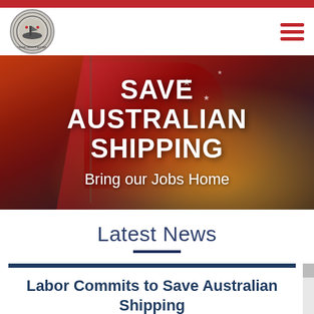[Figure (logo): Maritime Union of Australia circular logo with ship/anchor emblem inside a gear/compass border]
[Figure (photo): Hero banner showing Australian red ensign flag waving against a dramatic sunset sky with deep reds, oranges and dark tones]
SAVE AUSTRALIAN SHIPPING
Bring our Jobs Home
Latest News
Labor Commits to Save Australian Shipping